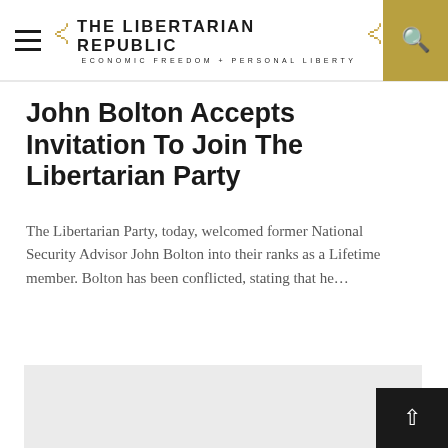THE LIBERTARIAN REPUBLIC ECONOMIC FREEDOM + PERSONAL LIBERTY
John Bolton Accepts Invitation To Join The Libertarian Party
The Libertarian Party, today, welcomed former National Security Advisor John Bolton into their ranks as a Lifetime member. Bolton has been conflicted, stating that he…
[Figure (other): Light grey rectangular placeholder image area]